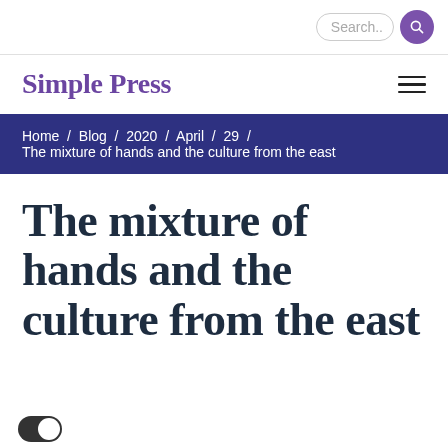Search..
Simple Press
Home / Blog / 2020 / April / 29 / The mixture of hands and the culture from the east
The mixture of hands and the culture from the east